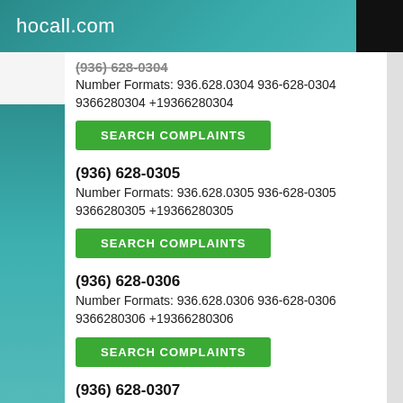hocall.com
(936) 628-0304
Number Formats: 936.628.0304 936-628-0304 9366280304 +19366280304
SEARCH COMPLAINTS
(936) 628-0305
Number Formats: 936.628.0305 936-628-0305 9366280305 +19366280305
SEARCH COMPLAINTS
(936) 628-0306
Number Formats: 936.628.0306 936-628-0306 9366280306 +19366280306
SEARCH COMPLAINTS
(936) 628-0307
Number Formats: 936.628.0307 936-628-0307 9366280307 +19366280307
SEARCH COMPLAINTS